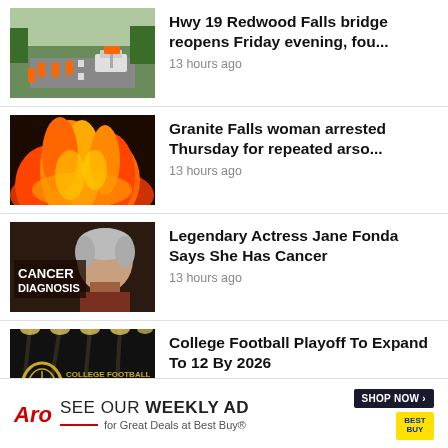[Figure (photo): Road with orange construction barrels and police/emergency vehicle on highway]
Hwy 19 Redwood Falls bridge reopens Friday evening, fou...
13 hours ago
[Figure (photo): Orange flames and fire background]
Granite Falls woman arrested Thursday for repeated arso...
13 hours ago
[Figure (photo): Woman with gray hair next to text CANCER DIAGNOSIS]
Legendary Actress Jane Fonda Says She Has Cancer
13 hours ago
[Figure (photo): College Football Playoff logo on dark background with spotlights]
College Football Playoff To Expand To 12 By 2026
15 hours ago
Aro SEE OUR WEEKLY AD for Great Deals at Best Buy® SHOP NOW